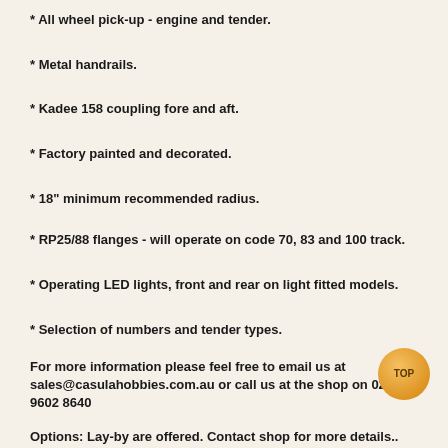* All wheel pick-up - engine and tender.
* Metal handrails.
* Kadee 158 coupling fore and aft.
* Factory painted and decorated.
* 18" minimum recommended radius.
* RP25/88 flanges - will operate on code 70, 83 and 100 track.
* Operating LED lights, front and rear on light fitted models.
* Selection of numbers and tender types.
For more information please feel free to email us at sales@casulahobbies.com.au or call us at the shop on 02 9602 8640
Options: Lay-by are offered. Contact shop for more details..